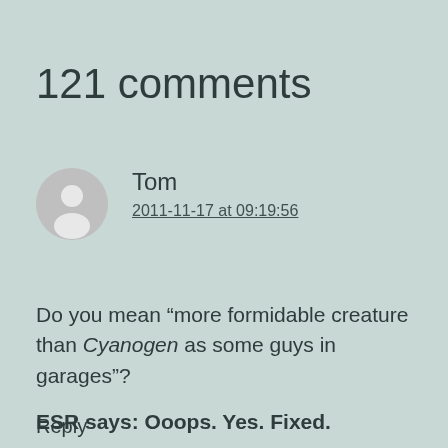121 comments
Tom
2011-11-17 at 09:19:56
Do you mean “more formidable creature than Cyanogen as some guys in garages”?
ESR says: Ooops. Yes. Fixed.
Reply